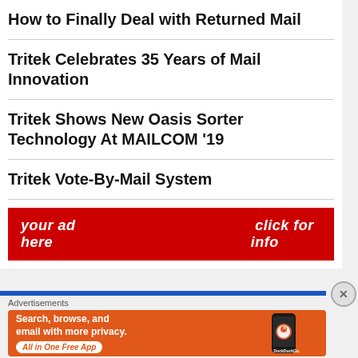How to Finally Deal with Returned Mail
Tritek Celebrates 35 Years of Mail Innovation
Tritek Shows New Oasis Sorter Technology At MAILCOM '19
Tritek Vote-By-Mail System
[Figure (infographic): Red advertising banner reading 'your ad here OMG DIGITAL ADVERTISING click for info']
[Figure (infographic): DuckDuckGo advertisement on orange background: 'Search, browse, and email with more privacy. All in One Free App' with phone illustration and DuckDuckGo logo]